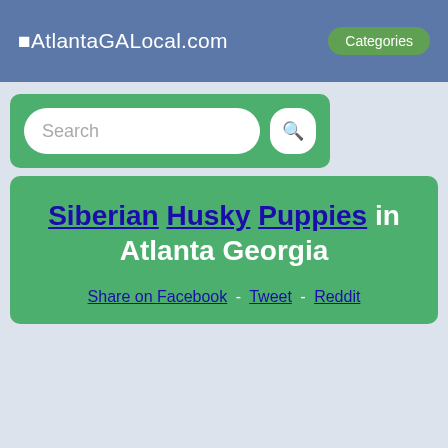AtlantaGALocal.com  Categories
[Figure (screenshot): Search input box with magnifying glass button on green background]
Siberian Husky Puppies in Atlanta Georgia
Share on Facebook - Tweet - Reddit